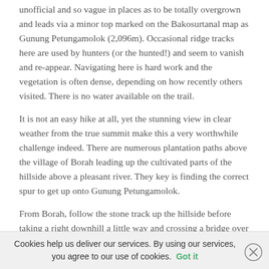unofficial and so vague in places as to be totally overgrown and leads via a minor top marked on the Bakosurtanal map as Gunung Petungamolok (2,096m). Occasional ridge tracks here are used by hunters (or the hunted!) and seem to vanish and re-appear. Navigating here is hard work and the vegetation is often dense, depending on how recently others visited. There is no water available on the trail.
It is not an easy hike at all, yet the stunning view in clear weather from the true summit make this a very worthwhile challenge indeed. There are numerous plantation paths above the village of Borah leading up the cultivated parts of the hillside above a pleasant river. They key is finding the correct spur to get up onto Gunung Petungamolok.
From Borah, follow the stone track up the hillside before taking a right downhill a little way and crossing a bridge over a small river. The trail in this section is mostly made of stone or carrot ... overgrown.
Cookies help us deliver our services. By using our services, you agree to our use of cookies. Got it